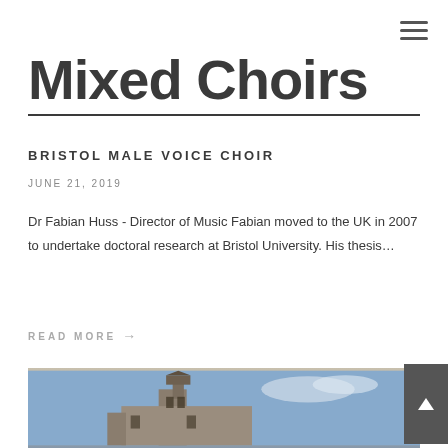Mixed Choirs
BRISTOL MALE VOICE CHOIR
JUNE 21, 2019
Dr Fabian Huss - Director of Music Fabian moved to the UK in 2007 to undertake doctoral research at Bristol University. His thesis…
READ MORE →
[Figure (photo): Partial view of a stone monument or church tower against a blue sky]